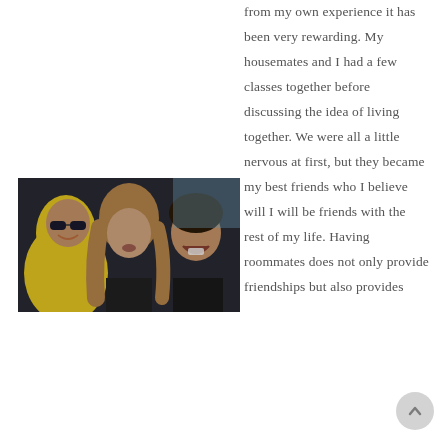from my own experience it has been very rewarding. My housemates and I had a few classes together before discussing the idea of living together. We were all a little nervous at first, but they became my best friends who I believe will I will be friends with the rest of my life. Having roommates does not only provide friendships but also provides
[Figure (photo): Three young people taking a selfie. On the left is a person dressed in a yellow banana costume with sunglasses. In the middle is a young woman with wavy light brown hair wearing a black top. On the right is another person laughing, wearing a dark top.]